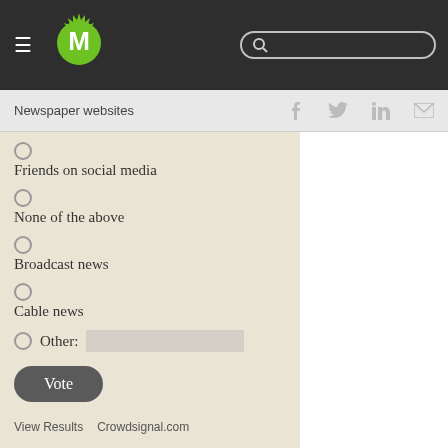M [logo] [search bar]
Newspaper websites
Friends on social media
None of the above
Broadcast news
Cable news
Other:
Vote
View Results    Crowdsignal.com